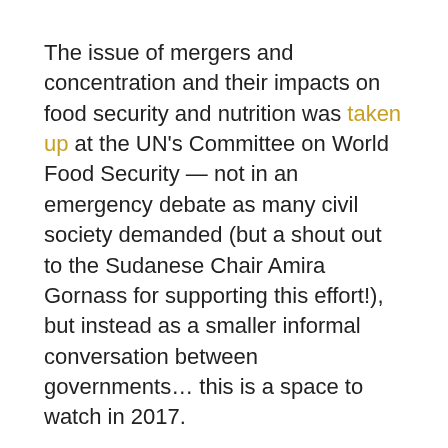The issue of mergers and concentration and their impacts on food security and nutrition was taken up at the UN's Committee on World Food Security — not in an emergency debate as many civil society demanded (but a shout out to the Sudanese Chair Amira Gornass for supporting this effort!), but instead as a smaller informal conversation between governments… this is a space to watch in 2017.
Knowledge is power, and ETC is working with partners to raise awareness about the threats concentration poses to peasant farmers and agroecology around the world. Look out for the International Panel of Experts on Food Systems' (IPES-Food) upcoming report on concentration in the agri-food industry. We'll keep looking for